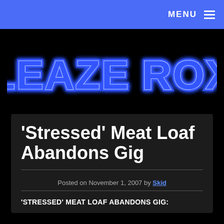MENU
[Figure (logo): Sleaze Roxx logo in blue neon-style stylized text on black background]
'Stressed' Meat Loaf Abandons Gig
Posted on November 1, 2007 by Skid
'STRESSED' MEAT LOAF ABANDONS GIG: